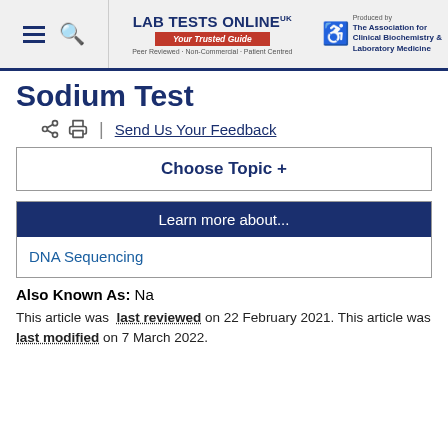Lab Tests Online UK — Your Trusted Guide | Peer Reviewed · Non-Commercial · Patient Centred | Produced by The Association for Clinical Biochemistry & Laboratory Medicine
Sodium Test
Share | Print | Send Us Your Feedback
Choose Topic +
Learn more about...
DNA Sequencing
Also Known As: Na
This article was last reviewed on 22 February 2021. This article was last modified on 7 March 2022.